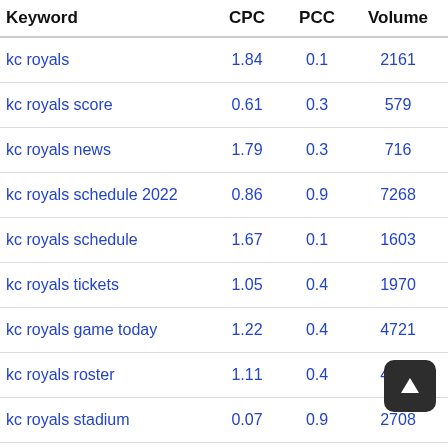| Keyword | CPC | PCC | Volume | Sc |
| --- | --- | --- | --- | --- |
| kc royals | 1.84 | 0.1 | 2161 | green |
| kc royals score | 0.61 | 0.3 | 579 | green |
| kc royals news | 1.79 | 0.3 | 716 | green |
| kc royals schedule 2022 | 0.86 | 0.9 | 7268 | green |
| kc royals schedule | 1.67 | 0.1 | 1603 | red |
| kc royals tickets | 1.05 | 0.4 | 1970 | green |
| kc royals game today | 1.22 | 0.4 | 4721 | green |
| kc royals roster | 1.11 | 0.4 | 4994 | green |
| kc royals stadium | 0.07 | 0.9 | 2708 | red |
| kc royals rumors | 0.1 | 0.2 | 7619 | green |
| kc royals schedule 2021 | 1.19 | 0.5 | 8571 | red |